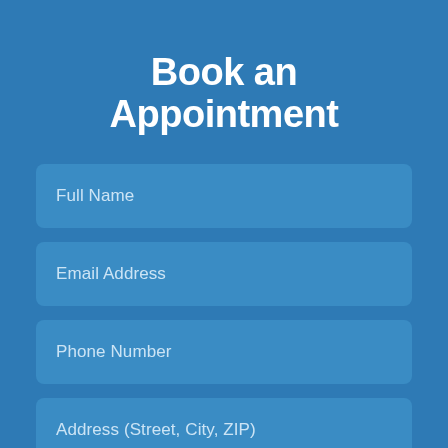Book an Appointment
Full Name
Email Address
Phone Number
Address (Street, City, ZIP)
Message